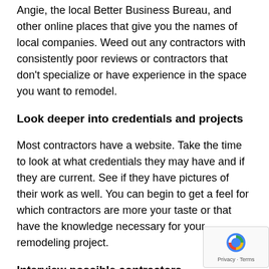Angie, the local Better Business Bureau, and other online places that give you the names of local companies. Weed out any contractors with consistently poor reviews or contractors that don't specialize or have experience in the space you want to remodel.
Look deeper into credentials and projects
Most contractors have a website. Take the time to look at what credentials they may have and if they are current. See if they have pictures of their work as well. You can begin to get a feel for which contractors are more your taste or that have the knowledge necessary for your remodeling project.
Interview possible contractors
The next step once you have fine-tuned your list few favorites is to call and schedule a time to meet